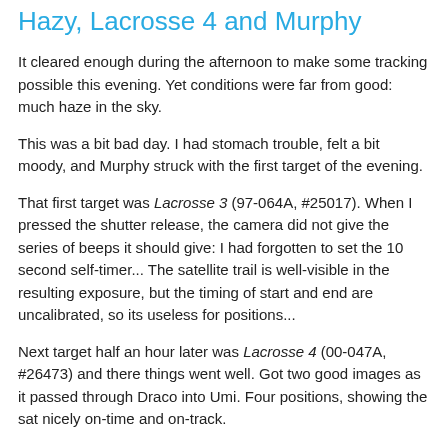Hazy, Lacrosse 4 and Murphy
It cleared enough during the afternoon to make some tracking possible this evening. Yet conditions were far from good: much haze in the sky.
This was a bit bad day. I had stomach trouble, felt a bit moody, and Murphy struck with the first target of the evening.
That first target was Lacrosse 3 (97-064A, #25017). When I pressed the shutter release, the camera did not give the series of beeps it should give: I had forgotten to set the 10 second self-timer... The satellite trail is well-visible in the resulting exposure, but the timing of start and end are uncalibrated, so its useless for positions...
Next target half an hour later was Lacrosse 4 (00-047A, #26473) and there things went well. Got two good images as it passed through Draco into Umi. Four positions, showing the sat nicely on-time and on-track.